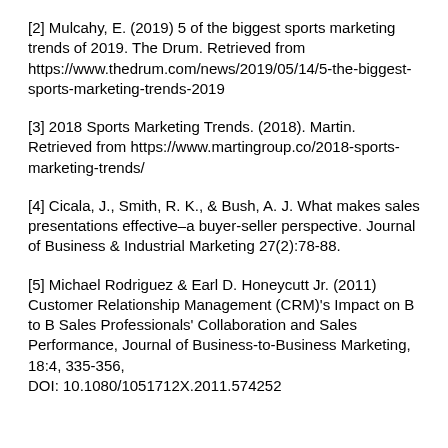[2] Mulcahy, E. (2019) 5 of the biggest sports marketing trends of 2019. The Drum. Retrieved from https://www.thedrum.com/news/2019/05/14/5-the-biggest-sports-marketing-trends-2019
[3] 2018 Sports Marketing Trends. (2018). Martin. Retrieved from https://www.martingroup.co/2018-sports-marketing-trends/
[4] Cicala, J., Smith, R. K., & Bush, A. J. What makes sales presentations effective–a buyer-seller perspective. Journal of Business & Industrial Marketing 27(2):78-88.
[5] Michael Rodriguez & Earl D. Honeycutt Jr. (2011) Customer Relationship Management (CRM)'s Impact on B to B Sales Professionals' Collaboration and Sales Performance, Journal of Business-to-Business Marketing, 18:4, 335-356, DOI: 10.1080/1051712X.2011.574252